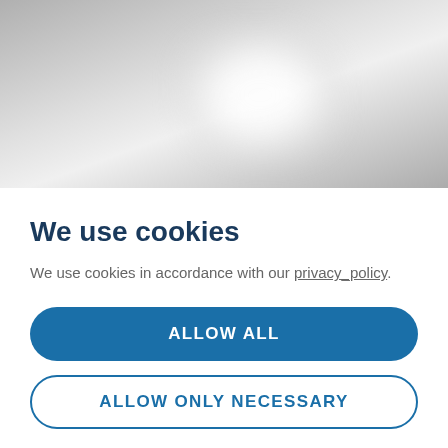[Figure (photo): Blurred gray background image showing an indistinct shape, likely a blurred screenshot of a website behind a cookie consent dialog.]
We use cookies
We use cookies in accordance with our privacy_policy.
ALLOW ALL
ALLOW ONLY NECESSARY